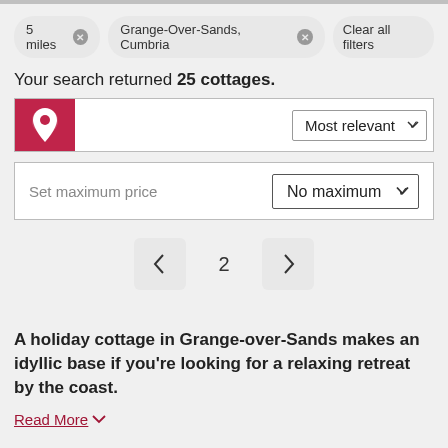5 miles ×
Grange-Over-Sands, Cumbria ×
Clear all filters
Your search returned 25 cottages.
[Figure (screenshot): Map pin icon button (red) with Most relevant sort dropdown]
Set maximum price   No maximum
< 2 >
A holiday cottage in Grange-over-Sands makes an idyllic base if you're looking for a relaxing retreat by the coast.
Read More ∨